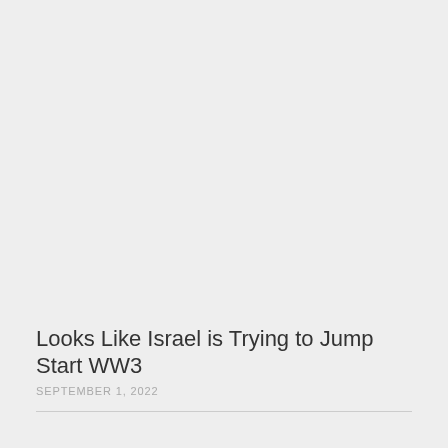Looks Like Israel is Trying to Jump Start WW3
SEPTEMBER 1, 2022